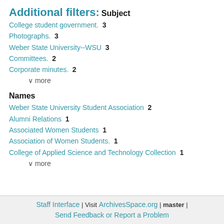Additional filters:
Subject
College student government.  3
Photographs.  3
Weber State University--WSU  3
Committees.  2
Corporate minutes.  2
∨ more
Names
Weber State University Student Association  2
Alumni Relations  1
Associated Women Students  1
Association of Women Students.  1
College of Applied Science and Technology Collection  1
∨ more
Staff Interface | Visit ArchivesSpace.org | master | Send Feedback or Report a Problem